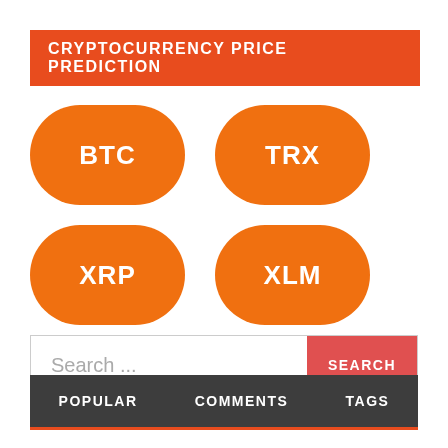CRYPTOCURRENCY PRICE PREDICTION
[Figure (infographic): Four orange rounded pill-shaped buttons arranged in a 2x2 grid, labeled BTC, TRX, XRP, XLM]
Search ...
SEARCH
POPULAR   COMMENTS   TAGS